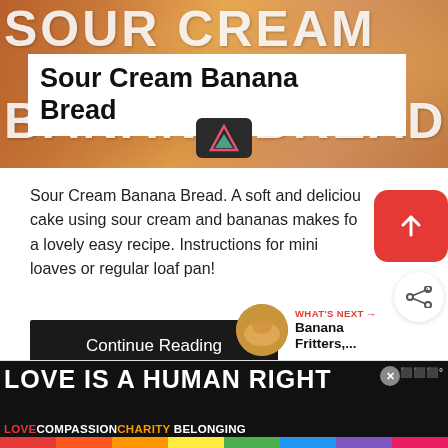[Figure (photo): Hero image of banana bread with baked golden crust, overlaid with large white text reading SOUR CREAM and BANANA BREAD in bold uppercase letters. A white box overlay contains the title 'Sour Cream Banana Bread'. A small dark logo box with a diamond/triangle shape is visible.]
Sour Cream Banana Bread
Sour Cream Banana Bread. A soft and delicious cake using sour cream and bananas makes for a lovely easy recipe. Instructions for mini loaves or regular loaf pan!
Continue Reading
WHAT'S NEXT → Banana Fritters,...
[Figure (infographic): Advertisement banner with dark background showing 'LOVE IS A HUMAN RIGHT' in large white uppercase bold text, with rainbow color stripe along the bottom and the words LOVE COMPASSION CHARITY BELONGING in colored text. A close X button and weather icon are visible.]